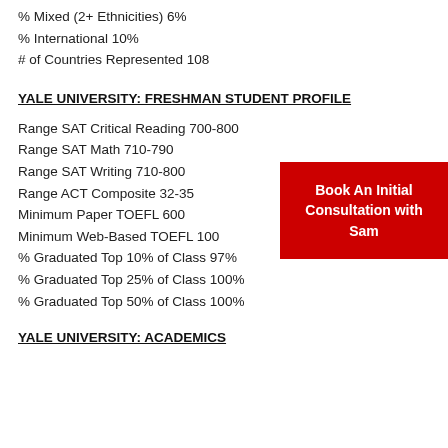% Mixed (2+ Ethnicities) 6%
% International 10%
# of Countries Represented 108
YALE UNIVERSITY: FRESHMAN STUDENT PROFILE
Range SAT Critical Reading 700-800
Range SAT Math 710-790
Range SAT Writing 710-800
Range ACT Composite 32-35
Minimum Paper TOEFL 600
Minimum Web-Based TOEFL 100
% Graduated Top 10% of Class 97%
% Graduated Top 25% of Class 100%
% Graduated Top 50% of Class 100%
[Figure (other): Red call-to-action button: Book An Initial Consultation with Sam]
YALE UNIVERSITY: ACADEMICS